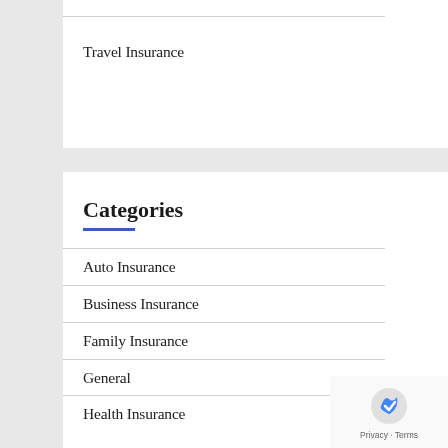Travel Insurance
Categories
Auto Insurance
Business Insurance
Family Insurance
General
Health Insurance
Home Insurance
Insurance Law
Life Annuities